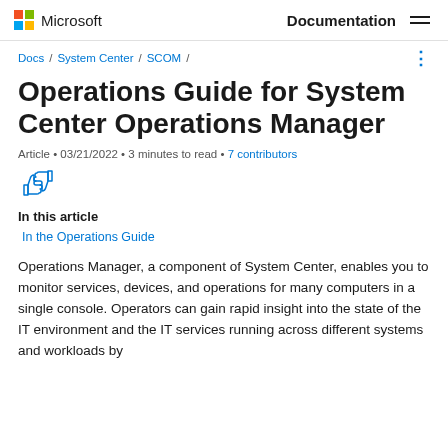Microsoft  Documentation
Docs / System Center / SCOM /
Operations Guide for System Center Operations Manager
Article • 03/21/2022 • 3 minutes to read • 7 contributors
In this article
In the Operations Guide
Operations Manager, a component of System Center, enables you to monitor services, devices, and operations for many computers in a single console. Operators can gain rapid insight into the state of the IT environment and the IT services running across different systems and workloads by